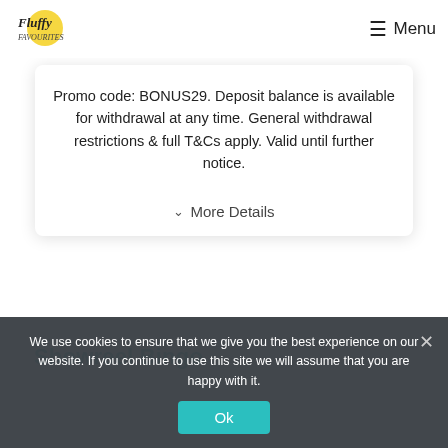Fluffy Favourites Menu
Promo code: BONUS29. Deposit balance is available for withdrawal at any time. General withdrawal restrictions & full T&Cs apply. Valid until further notice.
∨ More Details
Showreel Bingo
We use cookies to ensure that we give you the best experience on our website. If you continue to use this site we will assume that you are happy with it. Ok